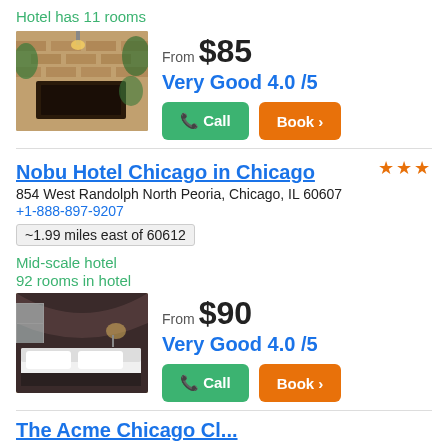Hotel has 11 rooms
[Figure (photo): Hotel exterior with brick wall and green ivy, a sign visible]
From $85
Very Good 4.0 /5
Call | Book >
Nobu Hotel Chicago in Chicago
854 West Randolph North Peoria, Chicago, IL 60607
+1-888-897-9207
~1.99 miles east of 60612
Mid-scale hotel
92 rooms in hotel
[Figure (photo): Hotel room interior with a large bed, dark walls and accent lighting]
From $90
Very Good 4.0 /5
Call | Book >
The Acme Chicago...